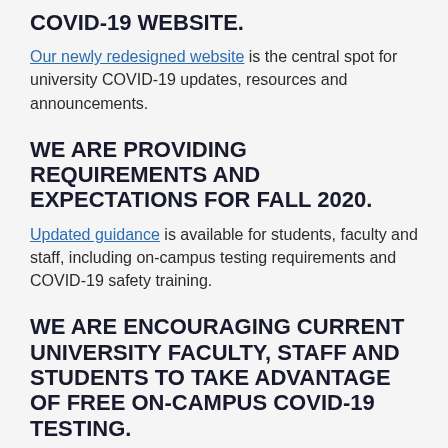COVID-19 WEBSITE.
Our newly redesigned website is the central spot for university COVID-19 updates, resources and announcements.
WE ARE PROVIDING REQUIREMENTS AND EXPECTATIONS FOR FALL 2020.
Updated guidance is available for students, faculty and staff, including on-campus testing requirements and COVID-19 safety training.
WE ARE ENCOURAGING CURRENT UNIVERSITY FACULTY, STAFF AND STUDENTS TO TAKE ADVANTAGE OF FREE ON-CAMPUS COVID-19 TESTING.
On-campus COVID-19 testing is required for all